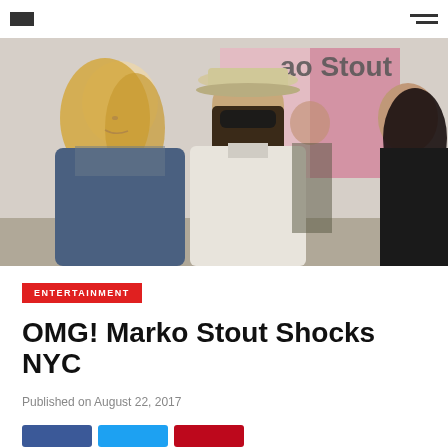logo | hamburger menu
[Figure (photo): Two people standing in what appears to be an art gallery. A blonde woman in a denim jacket on the left and a man wearing a white fedora hat and sunglasses in the center. Partial view of another person on the far right. Text visible in background reads 'ao Stout'.]
ENTERTAINMENT
OMG! Marko Stout Shocks NYC
Published on August 22, 2017